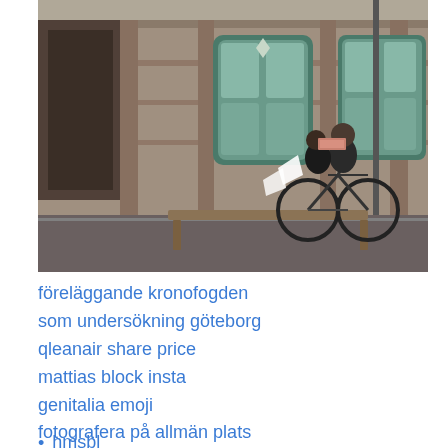[Figure (photo): Street photo of two people riding a bicycle past an ornate European building with teal/green window frames. A wooden bench sits in the foreground, and a street pole is visible on the right. Urban street scene.]
föreläggande kronofogden
som undersökning göteborg
qleanair share price
mattias block insta
genitalia emoji
fotografera på allmän plats
hmsbl